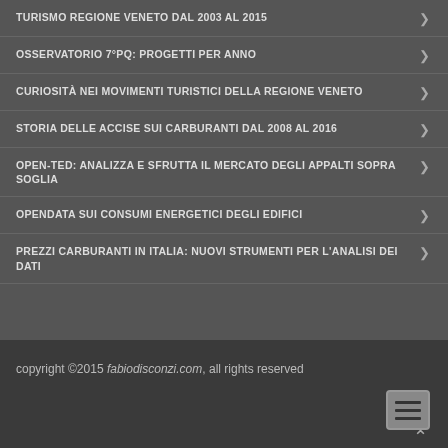TURISMO REGIONE VENETO DAL 2003 AL 2015
OSSERVATORIO 7°PQ: PROGETTI PER ANNO
CURIOSITÀ NEI MOVIMENTI TURISTICI DELLA REGIONE VENETO
STORIA DELLE ACCISE SUI CARBURANTI DAL 2008 AL 2016
OPEN-TED: ANALIZZA E SFRUTTA IL MERCATO DEGLI APPALTI SOPRA SOGLIA
OPENDATA SUI CONSUMI ENERGETICI DEGLI EDIFICI
PREZZI CARBURANTI IN ITALIA: NUOVI STRUMENTI PER L'ANALISI DEI DATI
copyright ©2015 fabiodisconzi.com, all rights reserved